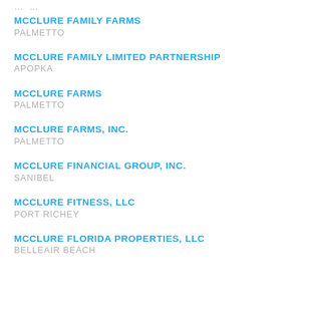MCCLURE FAMILY FARMS
PALMETTO
MCCLURE FAMILY LIMITED PARTNERSHIP
APOPKA
MCCLURE FARMS
PALMETTO
MCCLURE FARMS, INC.
PALMETTO
MCCLURE FINANCIAL GROUP, INC.
Sanibel
MCCLURE FITNESS, LLC
PORT RICHEY
MCCLURE FLORIDA PROPERTIES, LLC
BELLEAIR BEACH